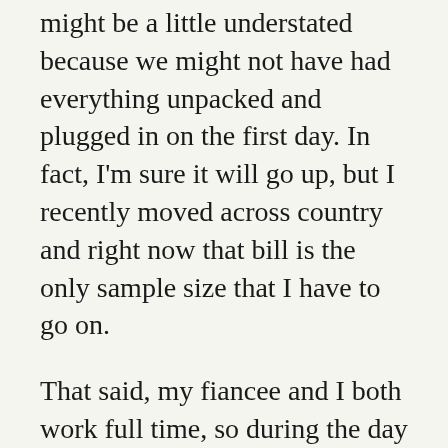might be a little understated because we might not have had everything unpacked and plugged in on the first day. In fact, I'm sure it will go up, but I recently moved across country and right now that bill is the only sample size that I have to go on.
That said, my fiancee and I both work full time, so during the day there's very little usage then. We haven't turned on the heat (and there is no air conditioning). Considering the coldest it gets to is